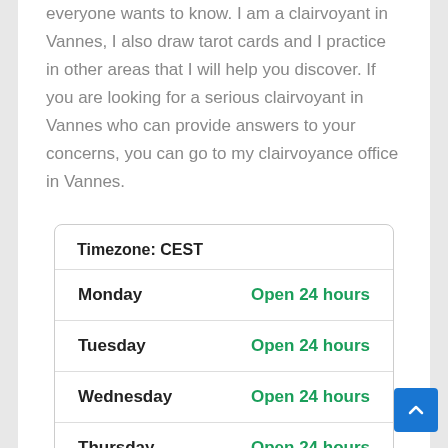everyone wants to know. I am a clairvoyant in Vannes, I also draw tarot cards and I practice in other areas that I will help you discover. If you are looking for a serious clairvoyant in Vannes who can provide answers to your concerns, you can go to my clairvoyance office in Vannes.
| Day | Hours |
| --- | --- |
| Monday | Open 24 hours |
| Tuesday | Open 24 hours |
| Wednesday | Open 24 hours |
| Thursday | Open 24 hours |
| Friday | Open 24 hours |